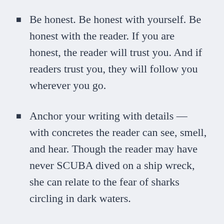Be honest. Be honest with yourself. Be honest with the reader. If you are honest, the reader will trust you. And if readers trust you, they will follow you wherever you go.
Anchor your writing with details — with concretes the reader can see, smell, and hear. Though the reader may have never SCUBA dived on a ship wreck, she can relate to the fear of sharks circling in dark waters.
Always remember the reader. They're not mind readers and they haven't